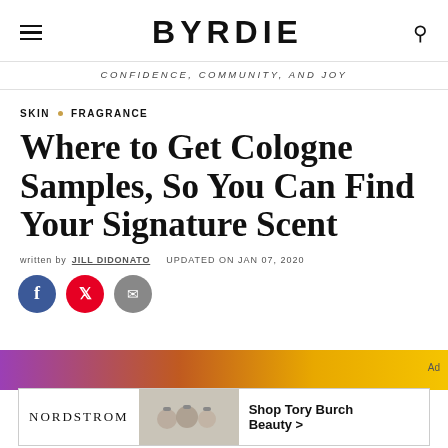BYRDIE — CONFIDENCE, COMMUNITY, AND JOY
SKIN • FRAGRANCE
Where to Get Cologne Samples, So You Can Find Your Signature Scent
written by JILL DIDONATO   UPDATED ON JAN 07, 2020
[Figure (infographic): Social share icons: Facebook (blue circle), Pinterest (red circle), Email (grey circle)]
[Figure (infographic): Gradient ad banner (purple to orange/yellow) with 'Ad' label]
[Figure (infographic): Nordstrom advertisement banner showing 'NORDSTROM', perfume bottles image, and 'Shop Tory Burch Beauty >' call to action]